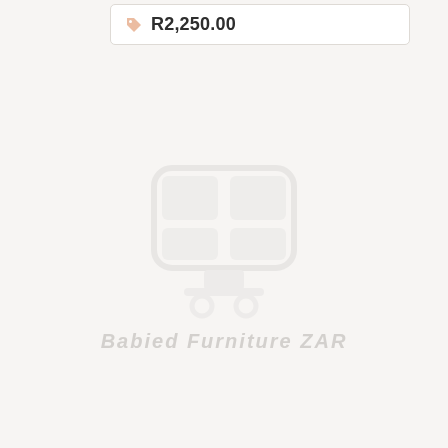R2,250.00
[Figure (logo): Faint watermark logo — a stylized shopping cart or grid icon in light gray]
Babied Furniture ZAR